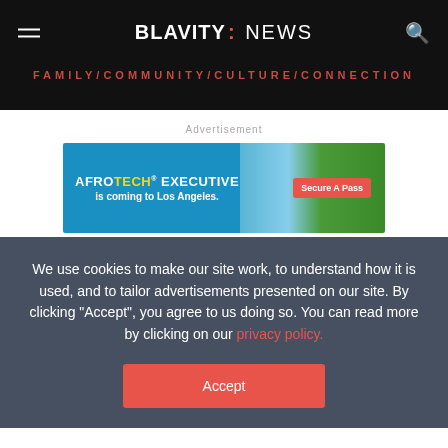BLAVITY: NEWS | FAMILY/COMMUNITY/CULTURE/CONNECTION
Advertisement
[Figure (other): AfroTech Executive is coming to Los Angeles. Secure A Pass. Advertisement banner with blue background and palm tree image.]
We use cookies to make our site work, to understand how it is used, and to tailor advertisements presented on our site. By clicking "Accept", you agree to us doing so. You can read more by clicking on our privacy policy.
Accept